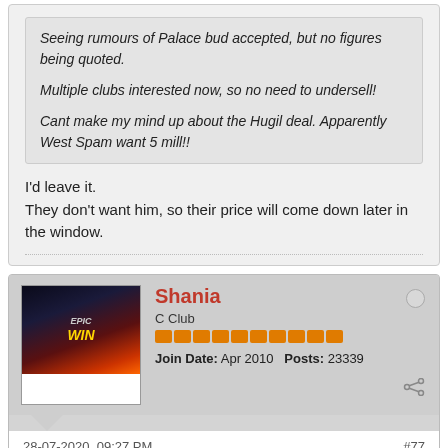Seeing rumours of Palace bud accepted, but no figures being quoted.

Multiple clubs interested now, so no need to undersell!

Cant make my mind up about the Hugil deal. Apparently West Spam want 5 mill!!
I'd leave it.
They don't want him, so their price will come down later in the window.
Shania
C Club
Join Date: Apr 2010   Posts: 23339
28-07-2020, 09:27 PM
#77
Hugill is on 33k pr. week. He most go down much now.
QPR
Best team in the world
Sort of